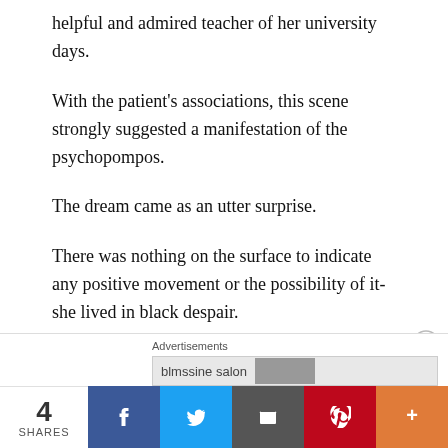helpful and admired teacher of her university days.
With the patient's associations, this scene strongly suggested a manifestation of the psychopompos.
The dream came as an utter surprise.
There was nothing on the surface to indicate any positive movement or the possibility of it-she lived in black despair.
Yet the dream showed that somewhere in her depth, near enough for her to relate to and consciously
4 SHARES | Facebook | Twitter | Email | Pinterest | More